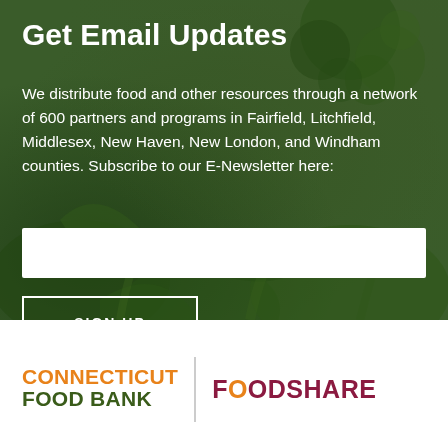Get Email Updates
We distribute food and other resources through a network of 600 partners and programs in Fairfield, Litchfield, Middlesex, New Haven, New London, and Windham counties. Subscribe to our E-Newsletter here:
[Figure (screenshot): Email input text field (white rectangle)]
[Figure (screenshot): SIGN UP button with white border outline]
[Figure (logo): Connecticut Food Bank and Foodshare logos side by side with vertical divider. Connecticut Food Bank: CONNECTICUT in orange, FOOD BANK in dark green. Foodshare: F-O-O-D-S-H-A-R-E in dark red/maroon with O in orange.]